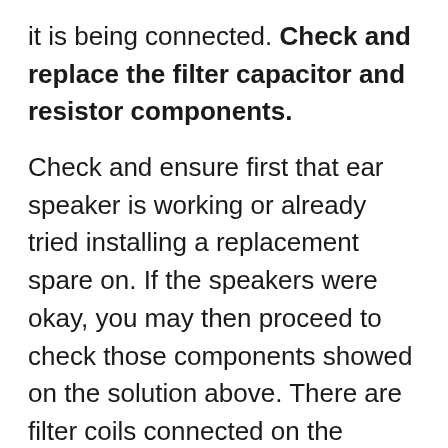it is being connected. Check and replace the filter capacitor and resistor components.
Check and ensure first that ear speaker is working or already tried installing a replacement spare on. If the speakers were okay, you may then proceed to check those components showed on the solution above. There are filter coils connected on the circuit, you may first check this component
If you have further Questions please leave a comment.
Note:Please note that even though every solution posted on our website is tested by one